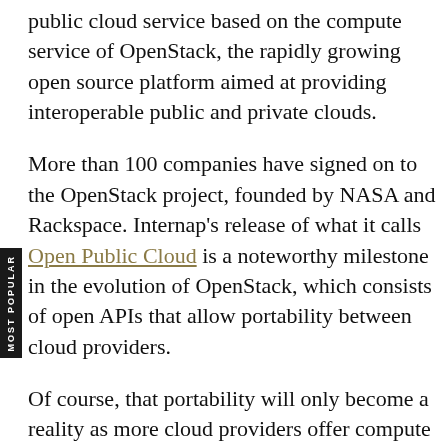public cloud service based on the compute service of OpenStack, the rapidly growing open source platform aimed at providing interoperable public and private clouds.
More than 100 companies have signed on to the OpenStack project, founded by NASA and Rackspace. Internap's release of what it calls Open Public Cloud is a noteworthy milestone in the evolution of OpenStack, which consists of open APIs that allow portability between cloud providers.
Of course, that portability will only become a reality as more cloud providers offer compute services based on OpenStack. Rackspace is in the midst of doing so, as recently reported, and others such as Dell and Hewlett-Packard are planning to do the same. But it also allows for compatibility with private OpenStack-based clouds.